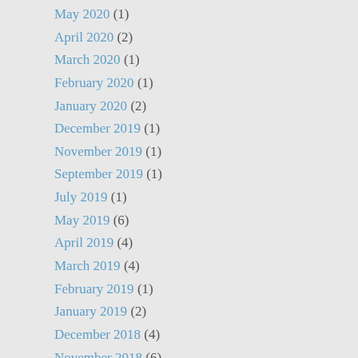May 2020 (1)
April 2020 (2)
March 2020 (1)
February 2020 (1)
January 2020 (2)
December 2019 (1)
November 2019 (1)
September 2019 (1)
July 2019 (1)
May 2019 (6)
April 2019 (4)
March 2019 (4)
February 2019 (1)
January 2019 (2)
December 2018 (4)
November 2018 (6)
October 2018 (6)
September 2018 (1)
August 2018 (1)
July 2018 (1)